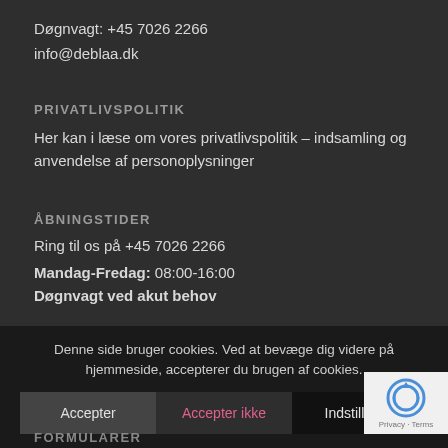Døgnvagt: +45 7026 2266
info@deblaa.dk
PRIVATLIVSPOLITIK
Her kan i læse om vores privatlivspolitik – indsamling og anvendelse af personoplysninger
ÅBNINGSTIDER
Ring til os på +45 7026 2266
Mandag-Fredag: 08:00-16:00
Døgnvagt ved akut behov
Denne side bruger cookies. Ved at bevæge dig videre på hjemmeside, accepterer du brugen af cookies.
Accepter | Accepter ikke | Indstillinger
FORMULARER